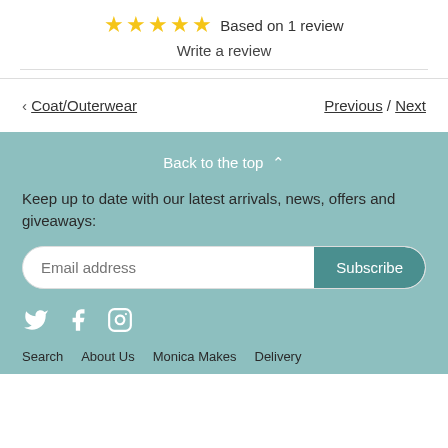★★★★★ Based on 1 review
Write a review
< Coat/Outerwear
Previous / Next
Back to the top ^
Keep up to date with our latest arrivals, news, offers and giveaways:
Email address Subscribe
Search  About Us  Monica Makes  Delivery